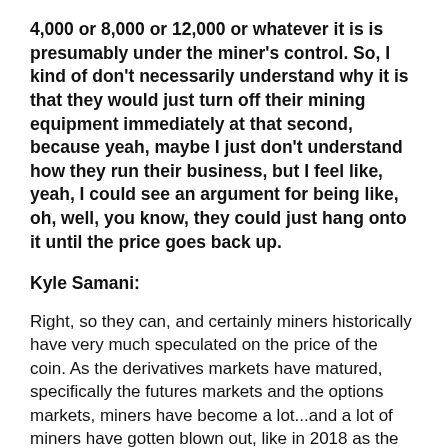4,000 or 8,000 or 12,000 or whatever it is is presumably under the miner's control. So, I kind of don't necessarily understand why it is that they would just turn off their mining equipment immediately at that second, because yeah, maybe I just don't understand how they run their business, but I feel like, yeah, I could see an argument for being like, oh, well, you know, they could just hang onto it until the price goes back up.
Kyle Samani:
Right, so they can, and certainly miners historically have very much speculated on the price of the coin. As the derivatives markets have matured, specifically the futures markets and the options markets, miners have become a lot...and a lot of miners have gotten blown out, like in 2018 as the market crashed, and so they've become a lot less willing to take on price risk of Bitcoin, and